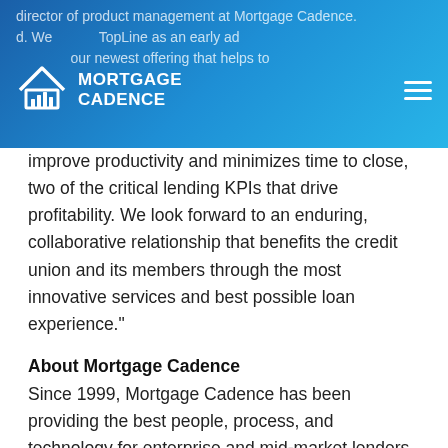Mortgage Cadence
improve productivity and minimizes time to close, two of the critical lending KPIs that drive profitability. We look forward to an enduring, collaborative relationship that benefits the credit union and its members through the most innovative services and best possible loan experience.”
About Mortgage Cadence
Since 1999, Mortgage Cadence has been providing the best people, process, and technology for enterprise and mid-market lenders who desire to deliver an exceptional borrower experience. From point-of-sale through post-closing, Mortgage Cadence offers reliable software and dedicated people, supporting lenders every step of the